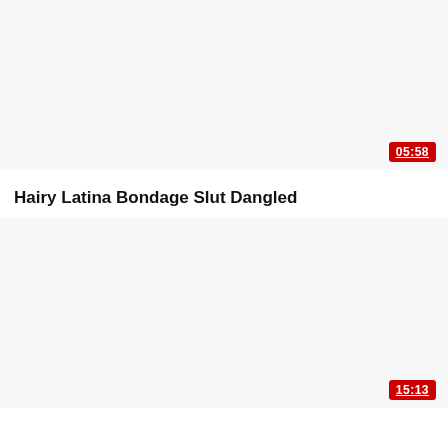[Figure (screenshot): Video thumbnail placeholder (white/light gray area) for first video card]
05:58
Hairy Latina Bondage Slut Dangled
[Figure (screenshot): Video thumbnail placeholder (white/light gray area) for second video card]
15:13